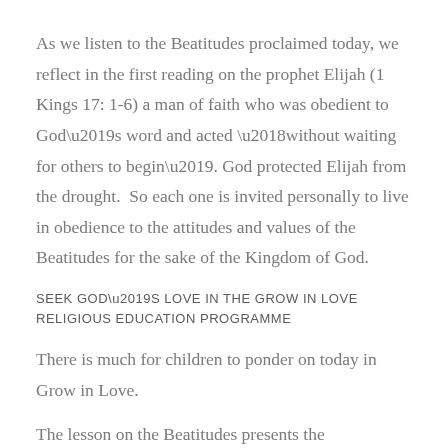As we listen to the Beatitudes proclaimed today, we reflect in the first reading on the prophet Elijah (1 Kings 17: 1-6) a man of faith who was obedient to God’s word and acted ‘without waiting for others to begin’. God protected Elijah from the drought.  So each one is invited personally to live in obedience to the attitudes and values of the Beatitudes for the sake of the Kingdom of God.
SEEK GOD’S LOVE IN THE GROW IN LOVE RELIGIOUS EDUCATION PROGRAMME
There is much for children to ponder on today in Grow in Love.
The lesson on the Beatitudes presents the